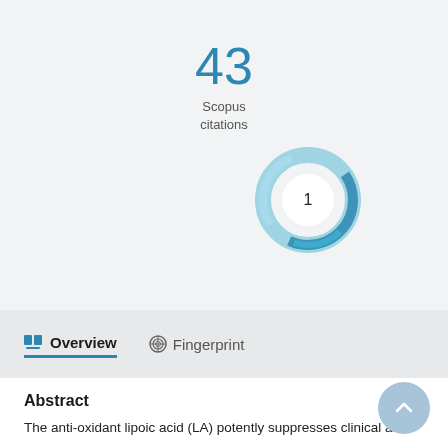43
Scopus citations
[Figure (other): PlumX or Altmetric donut badge showing the number 1 in the center, with teal/blue swirling ring around it]
Overview
Fingerprint
Abstract
The anti-oxidant lipoic acid (LA) potently suppresses clinical and